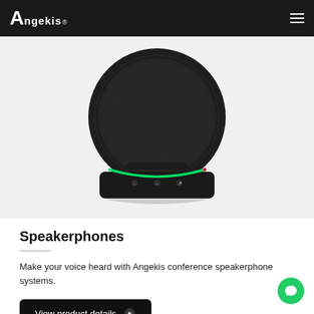Angekis®
[Figure (photo): Angekis conference speakerphone product photo — a round black speakerphone device with mesh top, green LED arc, and control buttons on a flat base, shown on white background]
Speakerphones
Make your voice heard with Angekis conference speakerphone systems.
View product details